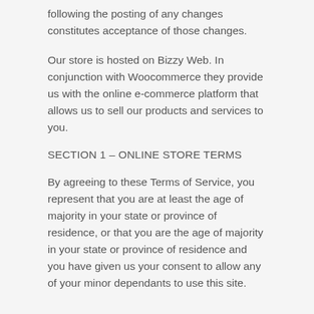following the posting of any changes constitutes acceptance of those changes.
Our store is hosted on Bizzy Web. In conjunction with Woocommerce they provide us with the online e-commerce platform that allows us to sell our products and services to you.
SECTION 1 – ONLINE STORE TERMS
By agreeing to these Terms of Service, you represent that you are at least the age of majority in your state or province of residence, or that you are the age of majority in your state or province of residence and you have given us your consent to allow any of your minor dependants to use this site.